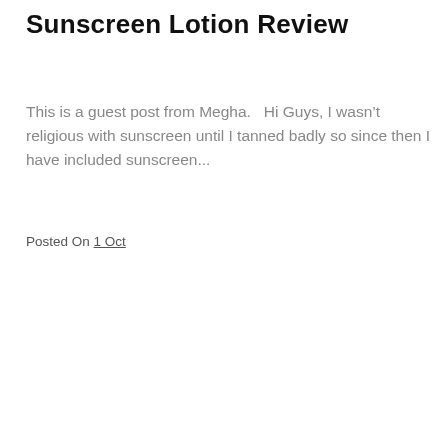Sunscreen Lotion Review
This is a guest post from Megha.   Hi Guys, I wasn’t religious with sunscreen until I tanned badly so since then I have included sunscreen…
Posted On 1 Oct